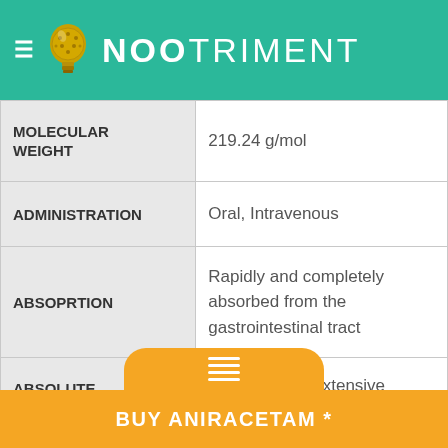NOOTRIMENT
| Property | Value |
| --- | --- |
| MOLECULAR WEIGHT | 219.24 g/mol |
| ADMINISTRATION | Oral, Intravenous |
| ABSOPRTION | Rapidly and completely absorbed from the gastrointestinal tract |
| ABSOLUTE BIOAVAILABILITY | 0.02% due to extensive biodegradation |
| METABOLITES | N-anisoyl-gamma-aminobutyric acid (N-GABA) |
BUY ANIRACETAM *